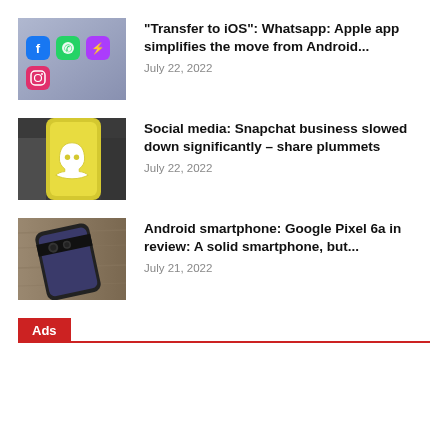[Figure (photo): Smartphone screen showing app icons including Facebook, WhatsApp, Messenger, and Instagram]
"Transfer to iOS": Whatsapp: Apple app simplifies the move from Android...
July 22, 2022
[Figure (photo): Person holding a yellow smartphone displaying the Snapchat ghost logo]
Social media: Snapchat business slowed down significantly – share plummets
July 22, 2022
[Figure (photo): Google Pixel 6a smartphone lying on a wooden surface]
Android smartphone: Google Pixel 6a in review: A solid smartphone, but...
July 21, 2022
Ads